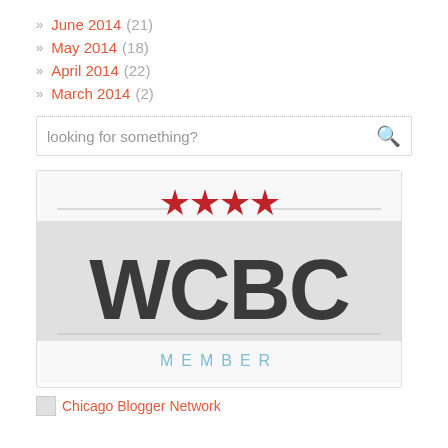June 2014 (21)
May 2014 (18)
April 2014 (22)
March 2014 (2)
looking for something?
[Figure (logo): WCBC Member logo — bold dark letters 'WCBC' with four red Chicago stars above and 'MEMBER' in spaced light-blue letters below, on a light grey background with horizontal lines, inside a white bordered card.]
Chicago Blogger Network